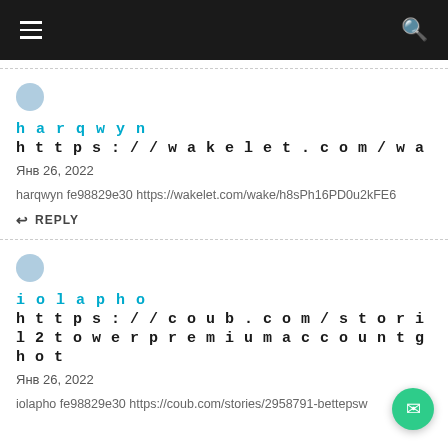Navigation header with hamburger menu and search icon
harqwyn https://wakelet.com/wake/Ep_Mf_F7_Lrfl
Янв 26, 2022
harqwyn fe98829e30 https://wakelet.com/wake/h8sPh16PD0u2kFE6
REPLY
iolapho https://coub.com/stories/295879 l2towerpremiumaccountgeneratordownlo hot
Янв 26, 2022
iolapho fe98829e30 https://coub.com/stories/2958791-bettepsw